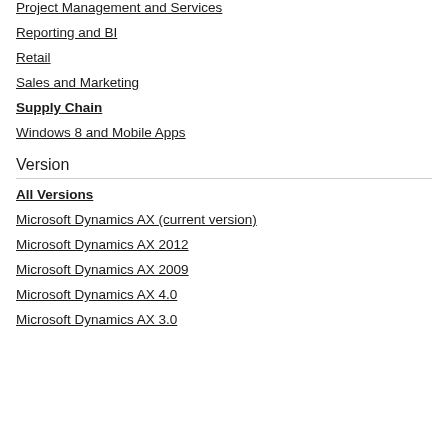Project Management and Services
Reporting and BI
Retail
Sales and Marketing
Supply Chain
Windows 8 and Mobile Apps
Version
All Versions
Microsoft Dynamics AX (current version)
Microsoft Dynamics AX 2012
Microsoft Dynamics AX 2009
Microsoft Dynamics AX 4.0
Microsoft Dynamics AX 3.0